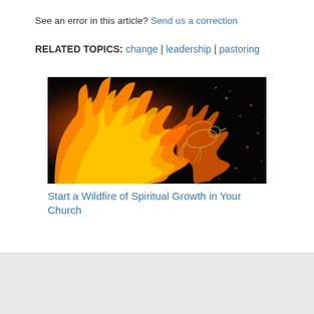See an error in this article? Send us a correction
RELATED TOPICS: change | leadership | pastoring
[Figure (photo): A fiery phoenix or dove bird engulfed in flames against a dark black background with glowing sparks]
Start a Wildfire of Spiritual Growth in Your Church